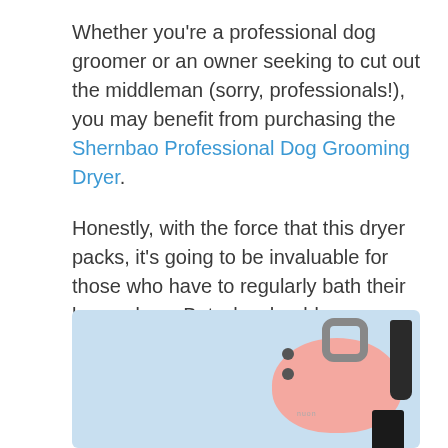Whether you're a professional dog groomer or an owner seeking to cut out the middleman (sorry, professionals!), you may benefit from purchasing the Shernbao Professional Dog Grooming Dryer. Honestly, with the force that this dryer packs, it's going to be invaluable for those who have to regularly bath their larger dogs. But why should you purchase a professional grade doggy dryer?
[Figure (photo): Photo of a pink Shernbao professional dog grooming dryer on a light blue background, with black nozzle attachments visible to the right.]